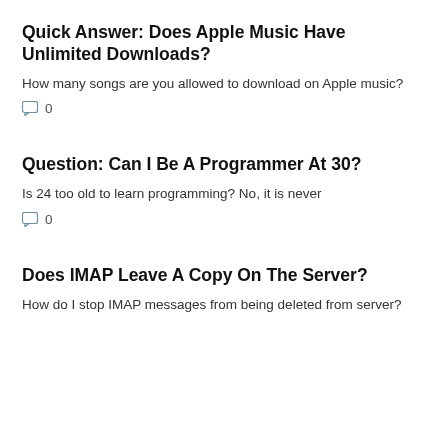Quick Answer: Does Apple Music Have Unlimited Downloads?
How many songs are you allowed to download on Apple music?
0
Question: Can I Be A Programmer At 30?
Is 24 too old to learn programming? No, it is never
0
Does IMAP Leave A Copy On The Server?
How do I stop IMAP messages from being deleted from server?